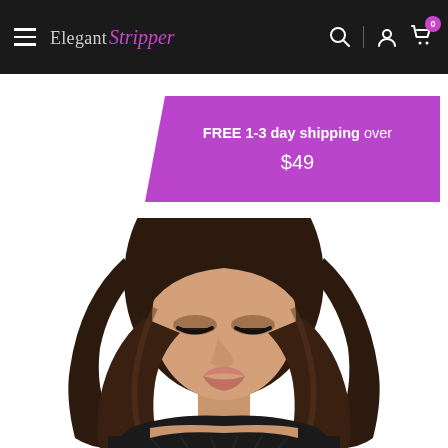Elegant Stripper — navigation bar with hamburger menu, logo, search, account, and cart icons (0 items)
FREE 1-3 day shipping over $49
[Figure (photo): Portrait photo of a brunette woman with long wavy dark hair, wearing a black bustier/corset top, looking down with dramatic eye makeup, on a white background.]